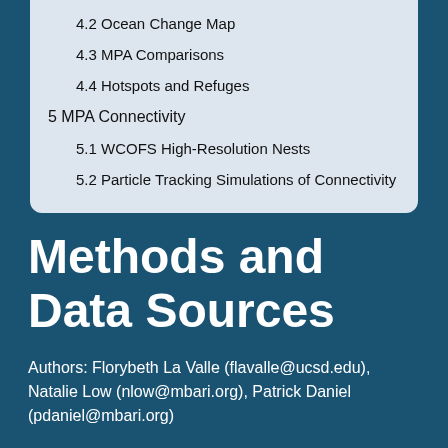4.2 Ocean Change Map
4.3 MPA Comparisons
4.4 Hotspots and Refuges
5 MPA Connectivity
5.1 WCOFS High-Resolution Nests
5.2 Particle Tracking Simulations of Connectivity
Methods and Data Sources
Authors: Florybeth La Valle (flavalle@ucsd.edu), Natalie Low (nlow@mbari.org), Patrick Daniel (pdaniel@mbari.org)